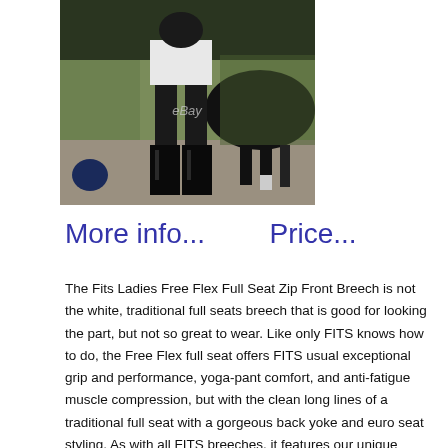[Figure (photo): Photo of a person wearing black equestrian riding boots and breeches standing next to a horse, with eBay watermark visible in the center of the image.]
More info...    Price...
The Fits Ladies Free Flex Full Seat Zip Front Breech is not the white, traditional full seats breech that is good for looking the part, but not so great to wear. Like only FITS knows how to do, the Free Flex full seat offers FITS usual exceptional grip and performance, yoga-pant comfort, and anti-fatigue muscle compression, but with the clean long lines of a traditional full seat with a gorgeous back yoke and euro seat styling. As with all FITS breeches, it features our unique patented leather-free stretch gusseted crotch to allow you to sit deep in the saddle with full